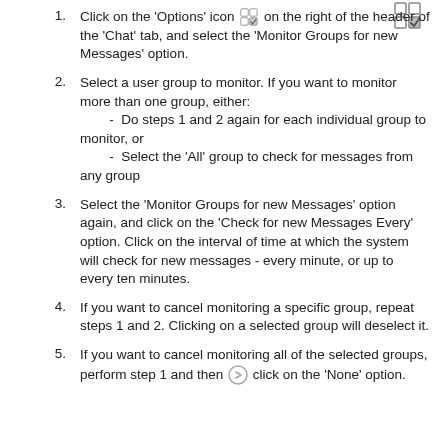[Figure (other): Small grid/options icon in the top right corner of the page]
Click on the 'Options' icon [icon] on the right of the header of the 'Chat' tab, and select the 'Monitor Groups for new Messages' option.
Select a user group to monitor. If you want to monitor more than one group, either:
 - Do steps 1 and 2 again for each individual group to monitor, or
 - Select the 'All' group to check for messages from any group
Select the 'Monitor Groups for new Messages' option again, and click on the 'Check for new Messages Every' option. Click on the interval of time at which the system will check for new messages - every minute, or up to every ten minutes.
If you want to cancel monitoring a specific group, repeat steps 1 and 2. Clicking on a selected group will deselect it.
If you want to cancel monitoring all of the selected groups, perform step 1 and then click on the 'None' option.